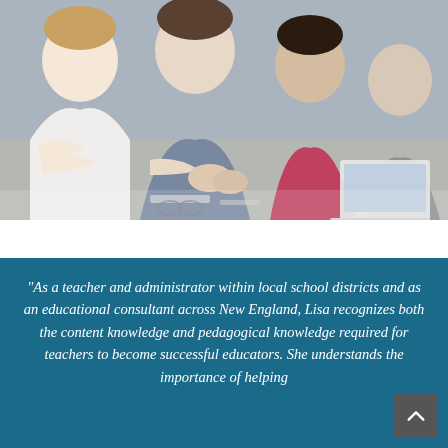[Figure (photo): People sitting around a table in a meeting or collaborative session, with a laptop visible, hands clasped on the table, cropped view showing upper bodies]
“As a teacher and administrator within local school districts and as an educational consultant across New England, Lisa recognizes both the content knowledge and pedagogical knowledge required for teachers to become successful educators. She understands the importance of helping